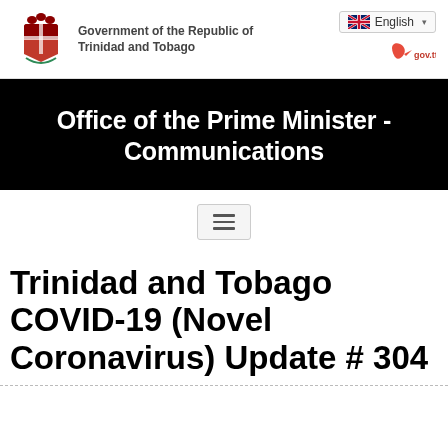Government of the Republic of Trinidad and Tobago
Office of the Prime Minister - Communications
[Figure (other): Hamburger menu icon button]
Trinidad and Tobago COVID-19 (Novel Coronavirus) Update # 304